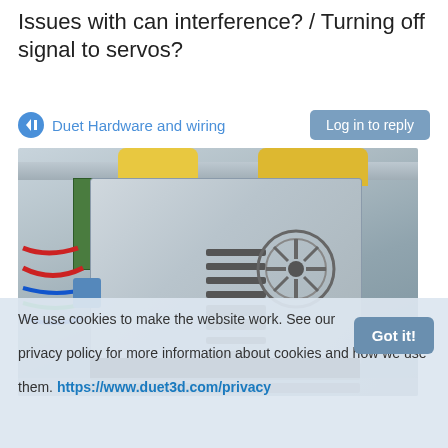Issues with can interference? / Turning off signal to servos?
Duet Hardware and wiring
[Figure (photo): Photo of a power supply unit (PSU) with visible ventilation slots and cooling fan, connected by red, blue, and green wires. Yellow objects visible at the top. Bottom panel shows connector ports.]
We use cookies to make the website work. See our privacy policy for more information about cookies and how we use them. https://www.duet3d.com/privacy